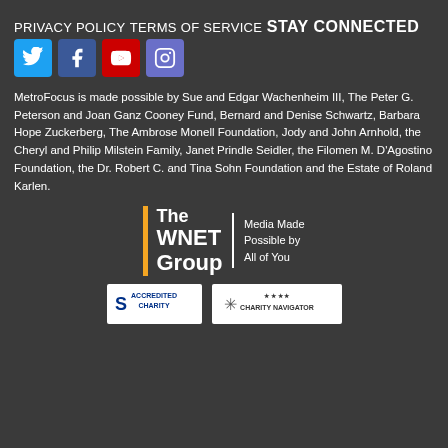PRIVACY POLICY
TERMS OF SERVICE
STAY CONNECTED
[Figure (illustration): Four social media icons: Twitter (blue), Facebook (dark blue), YouTube (red), Instagram (purple-blue)]
MetroFocus is made possible by Sue and Edgar Wachenheim III, The Peter G. Peterson and Joan Ganz Cooney Fund, Bernard and Denise Schwartz, Barbara Hope Zuckerberg, The Ambrose Monell Foundation, Jody and John Arnhold, the Cheryl and Philip Milstein Family, Janet Prindle Seidler, the Filomen M. D'Agostino Foundation, the Dr. Robert C. and Tina Sohn Foundation and the Estate of Roland Karlen.
[Figure (logo): The WNET Group — Media Made Possible by All of You logo with orange vertical bar]
[Figure (logo): Accredited Charity seal and Charity Navigator four-star rating badge]